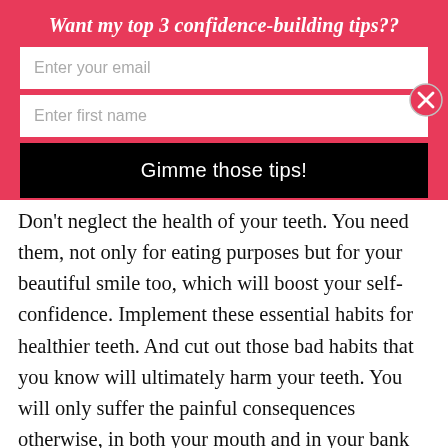Want my top 3 confidence-building tips??
[Figure (screenshot): Email signup form with 'Enter your email' field, 'Enter first name' field, and 'Gimme those tips!' black submit button on a pink/red background. A close (X) button appears on the right side.]
Don't neglect the health of your teeth. You need them, not only for eating purposes but for your beautiful smile too, which will boost your self-confidence. Implement these essential habits for healthier teeth. And cut out those bad habits that you know will ultimately harm your teeth. You will only suffer the painful consequences otherwise, in both your mouth and in your bank balance!